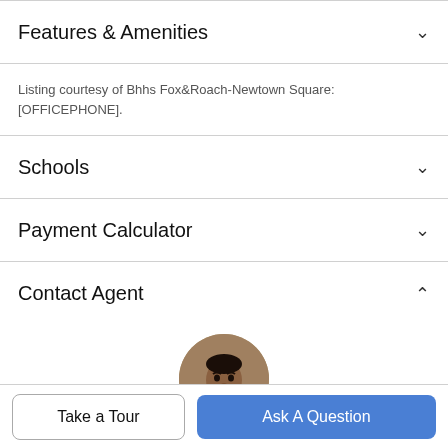Features & Amenities
Listing courtesy of Bhhs Fox&Roach-Newtown Square: [OFFICEPHONE].
Schools
Payment Calculator
Contact Agent
[Figure (photo): Circular profile photo of a male real estate agent wearing a suit and tie, with a brick wall background.]
Take a Tour
Ask A Question